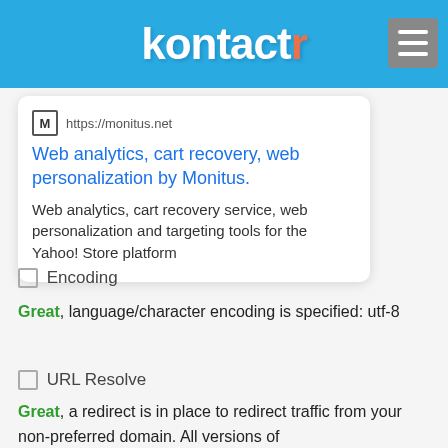kontactr
[Figure (screenshot): Search result card for monitus.net showing URL https://monitus.net, title 'Web analytics, cart recovery, web personalization by Monitus.' and description 'Web analytics, cart recovery service, web personalization and targeting tools for the Yahoo! Store platform']
☐ Encoding
Great, language/character encoding is specified: utf-8
☐ URL Resolve
Great, a redirect is in place to redirect traffic from your non-preferred domain. All versions of